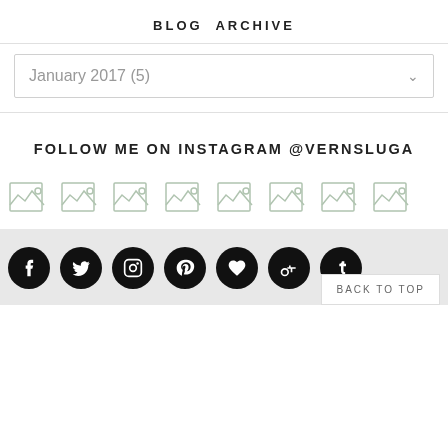BLOG ARCHIVE
January 2017 (5)
FOLLOW ME ON INSTAGRAM @VERNSLUGA
[Figure (other): Eight broken/placeholder Instagram image thumbnails in a row]
Social icons: Facebook, Twitter, Instagram, Pinterest, Heart/Bloglovin, Google+, Tumblr | BACK TO TOP